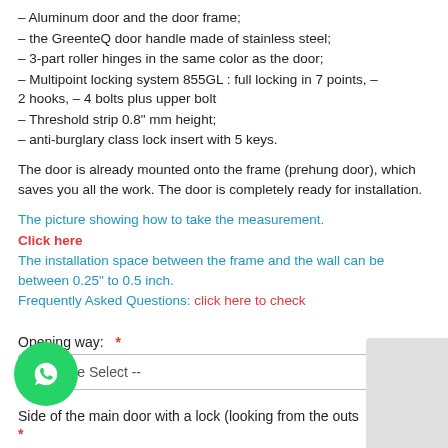– Aluminum door and the door frame;
– the GreenteQ door handle made of stainless steel;
– 3-part roller hinges in the same color as the door;
– Multipoint locking system 855GL : full locking in 7 points, – 2 hooks, – 4 bolts plus upper bolt
– Threshold strip 0.8" mm height;
– anti-burglary class lock insert with 5 keys.
The door is already mounted onto the frame (prehung door), which saves you all the work. The door is completely ready for installation.
The picture showing how to take the measurement. Click here
The installation space between the frame and the wall can be between 0.25" to 0.5 inch.
Frequently Asked Questions: click here to check
Opening way:  *
-- Please Select --
Side of the main door with a lock (looking from the outs
*